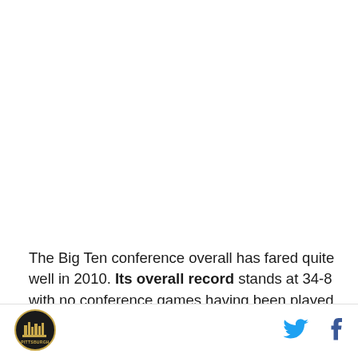The Big Ten conference overall has fared quite well in 2010. Its overall record stands at 34-8 with no conference games having been played as of yet. Five
[Figure (logo): Pittsburgh sports logo — circular emblem with cityscape and text 'PITTSBURGH']
[Figure (other): Twitter bird icon in cyan blue]
[Figure (other): Facebook 'f' icon in dark blue]